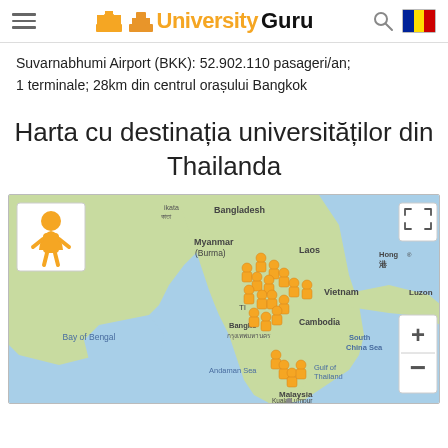UniversityGuru
Suvarnabhumi Airport (BKK): 52.902.110 pasageri/an; 1 terminale; 28km din centrul orașului Bangkok
Harta cu destinația universităților din Thailanda
[Figure (map): Interactive map showing locations of universities in Thailand and surrounding regions including Bangladesh, Myanmar (Burma), Laos, Vietnam, Cambodia, Malaysia. University markers (orange person icons) are clustered around central Thailand and Bangkok area. Map controls include person/street view icon, fullscreen button, and zoom +/- buttons.]